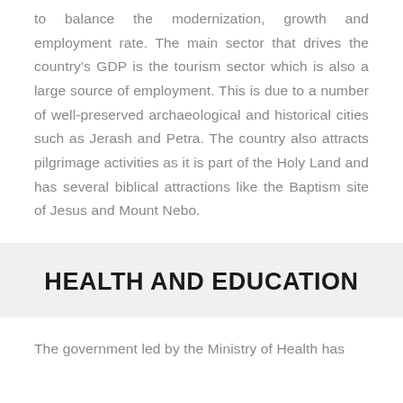to balance the modernization, growth and employment rate. The main sector that drives the country's GDP is the tourism sector which is also a large source of employment. This is due to a number of well-preserved archaeological and historical cities such as Jerash and Petra. The country also attracts pilgrimage activities as it is part of the Holy Land and has several biblical attractions like the Baptism site of Jesus and Mount Nebo.
HEALTH AND EDUCATION
The government led by the Ministry of Health has